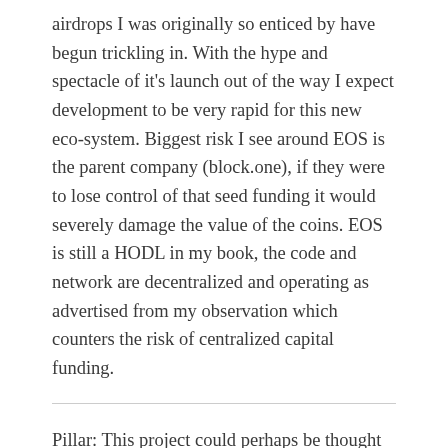airdrops I was originally so enticed by have begun trickling in. With the hype and spectacle of it's launch out of the way I expect development to be very rapid for this new eco-system. Biggest risk I see around EOS is the parent company (block.one), if they were to lose control of that seed funding it would severely damage the value of the coins. EOS is still a HODL in my book, the code and network are decentralized and operating as advertised from my observation which counters the risk of centralized capital funding.
Pillar: This project could perhaps be thought of as competitor to the Crypto One Stop Solution project mentioned below, though without the profit distribution bonus. This is another coin of European origin which is restricting access to American users. I'm getting the